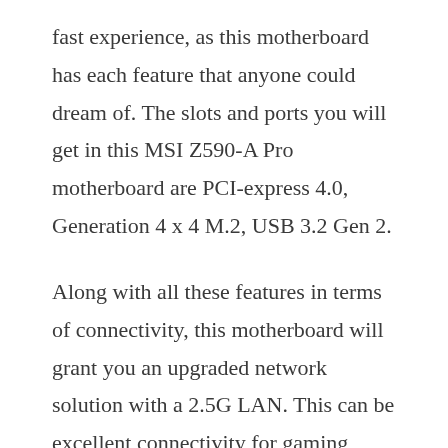fast experience, as this motherboard has each feature that anyone could dream of. The slots and ports you will get in this MSI Z590-A Pro motherboard are PCI-express 4.0, Generation 4 x 4 M.2, USB 3.2 Gen 2.
Along with all these features in terms of connectivity, this motherboard will grant you an upgraded network solution with a 2.5G LAN. This can be excellent connectivity for gaming purposes and multimedia purposes. You don’t have to worry about connectivity stability on this motherboard